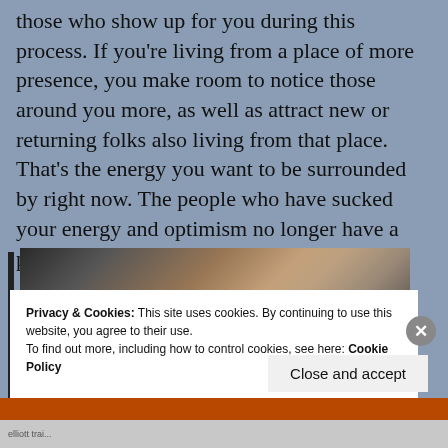those who show up for you during this process. If you're living from a place of more presence, you make room to notice those around you more, as well as attract new or returning folks also living from that place. That's the energy you want to be surrounded by right now. The people who have sucked your energy and optimism no longer have a place in your life.
[Figure (photo): Close-up photo of a person's head and hair, top-down/side view, with a dark background and some objects visible in the background.]
Privacy & Cookies: This site uses cookies. By continuing to use this website, you agree to their use.
To find out more, including how to control cookies, see here: Cookie Policy
Close and accept